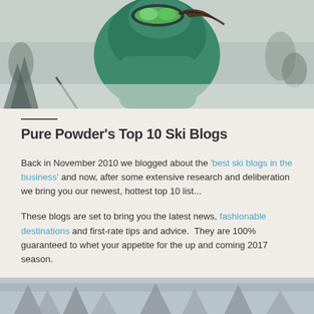[Figure (photo): Skier wearing green jacket and green goggles in snowy mountain conditions]
Pure Powder's Top 10 Ski Blogs
Back in November 2010 we blogged about the 'best ski blogs in the business' and now, after some extensive research and deliberation we bring you our newest, hottest top 10 list...
These blogs are set to bring you the latest news, fashionable destinations and first-rate tips and advice.  They are 100% guaranteed to whet your appetite for the up and coming 2017 season.
[Figure (photo): Snowy mountain scene with snow-covered trees]